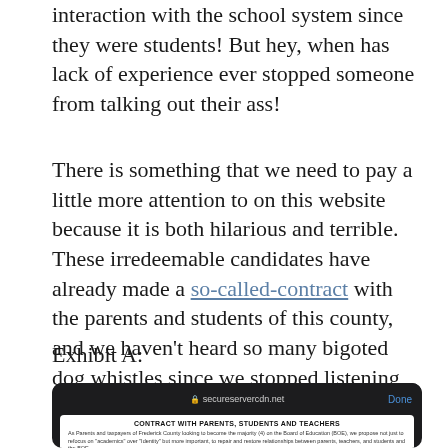interaction with the school system since they were students! But hey, when has lack of experience ever stopped someone from talking out their ass!
There is something that we need to pay a little more attention to on this website because it is both hilarious and terrible. These irredeemable candidates have already made a so-called-contract with the parents and students of this county, and we haven't heard so many bigoted dog whistles since we stopped listening to Trump speeches years ago. This part we will parse along with y'all.
Exhibit A:
[Figure (screenshot): Screenshot of a mobile browser showing secureservercdn.net with a document titled 'CONTRACT WITH PARENTS, STUDENTS AND TEACHERS'. The page begins: 'As Parents and taxpayers of Frederick County looking to become the majority (4) on the Board of Education (BOE), we propose not just to refocus on "academics" over "Identity" but more important, to repair and restore relationships between parents, teachers, and students and the BOE.']